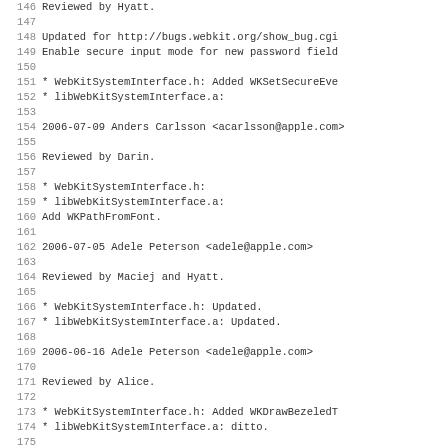Source code changelog / commit log lines 146-178, monospace format
146 Reviewed by Hyatt.
147 (blank)
148 Updated for http://bugs.webkit.org/show_bug.cgi
149 Enable secure input mode for new password field
150 (blank)
151 * WebKitSystemInterface.h: Added WKSetSecureEve
152 * libWebKitSystemInterface.a:
153 (blank)
154 2006-07-09  Anders Carlsson  <acarlsson@apple.com>
155 (blank)
156 Reviewed by Darin.
157 (blank)
158 * WebKitSystemInterface.h:
159 * libWebKitSystemInterface.a:
160 Add WKPathFromFont.
161 (blank)
162 2006-07-05  Adele Peterson  <adele@apple.com>
163 (blank)
164 Reviewed by Maciej and Hyatt.
165 (blank)
166 * WebKitSystemInterface.h: Updated.
167 * libWebKitSystemInterface.a: Updated.
168 (blank)
169 2006-06-16  Adele Peterson  <adele@apple.com>
170 (blank)
171 Reviewed by Alice.
172 (blank)
173 * WebKitSystemInterface.h: Added WKDrawBezeledT
174 * libWebKitSystemInterface.a: ditto.
175 (blank)
176 2006-04-01  Eric Seidel  <eseidel@apple.com>
177 (blank)
178 * libWebKitSystemInterface.a: commit a universa